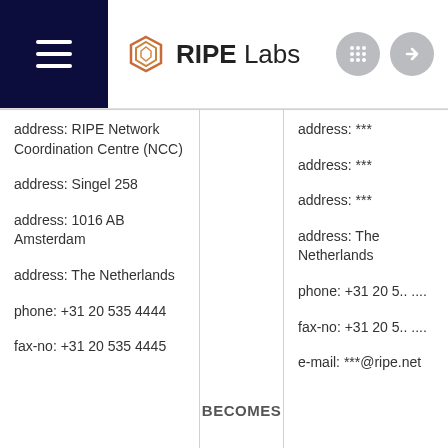RIPE Labs
address: RIPE Network Coordination Centre (NCC)
address: Singel 258
address: 1016 AB Amsterdam
address: The Netherlands
phone: +31 20 535 4444
fax-no: +31 20 535 4445
BECOMES
address: ***
address: ***
address: ***
address: The Netherlands
phone: +31 20 5.. ....
fax-no: +31 20 5.. ....
e-mail: ***@ripe.net